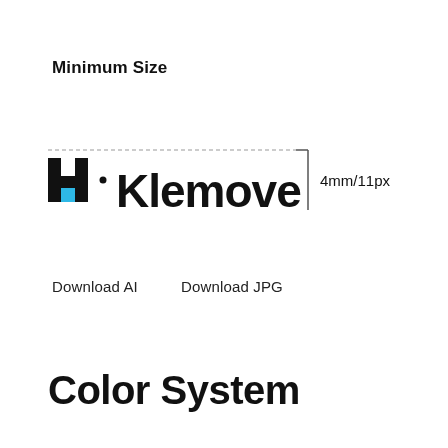Minimum Size
[Figure (logo): HL Klemove logo with dashed bounding box and measurement indicator showing 4mm/11px minimum height]
Download AI     Download JPG
Color System